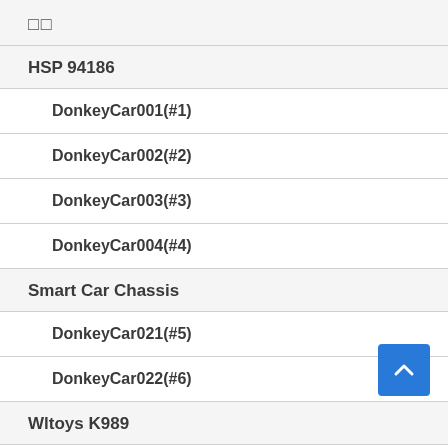□□
HSP 94186
DonkeyCar001(#1)
DonkeyCar002(#2)
DonkeyCar003(#3)
DonkeyCar004(#4)
Smart Car Chassis
DonkeyCar021(#5)
DonkeyCar022(#6)
Wltoys K989
DonkeyCar011(#7)
DonkeyCar012(#8)